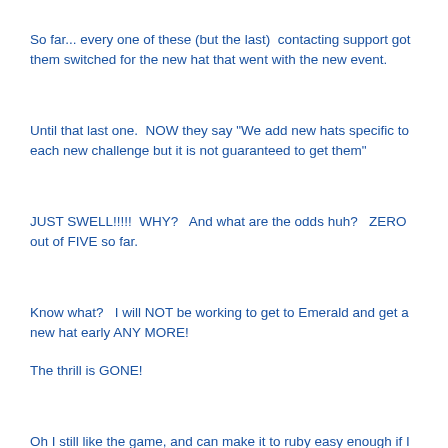So far... every one of these (but the last)  contacting support got them switched for the new hat that went with the new event.
Until that last one.  NOW they say "We add new hats specific to each new challenge but it is not guaranteed to get them"
JUST SWELL!!!!!  WHY?   And what are the odds huh?   ZERO out of FIVE so far.
Know what?   I will NOT be working to get to Emerald and get a new hat early ANY MORE!
The thrill is GONE!
Oh I still like the game, and can make it to ruby easy enough if I have enough time, but pushing for Emerald only to win some old, recycled, out of date piece of junk everyone has already seen